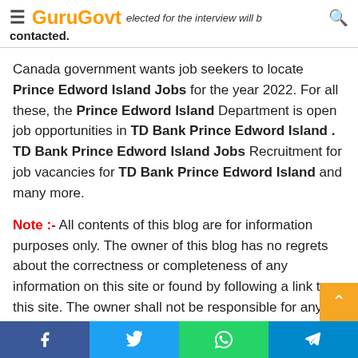GuruGovt — ...elected for the interview will be contacted.
Canada government wants job seekers to locate Prince Edword Island Jobs for the year 2022. For all these, the Prince Edword Island Department is open job opportunities in TD Bank Prince Edword Island . TD Bank Prince Edword Island Jobs Recruitment for job vacancies for TD Bank Prince Edword Island and many more.
Note :- All contents of this blog are for information purposes only. The owner of this blog has no regrets about the correctness or completeness of any information on this site or found by following a link to this site. The owner shall not be responsible for any errors or omissions in this information n
Facebook | Twitter | WhatsApp | Telegram